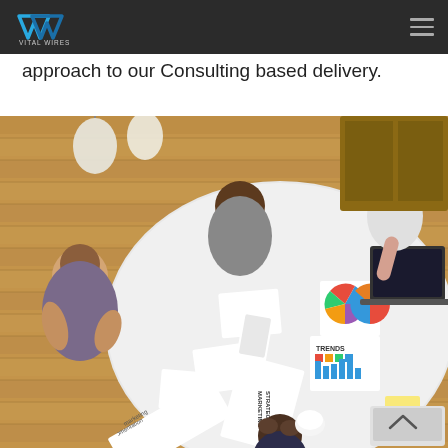Vital Wires — navigation header
approach to our Consulting based delivery.
[Figure (photo): Aerial view of business people gathered around a white table covered with papers, charts, marketing strategy documents, laptops and mobile devices, having a collaborative work meeting.]